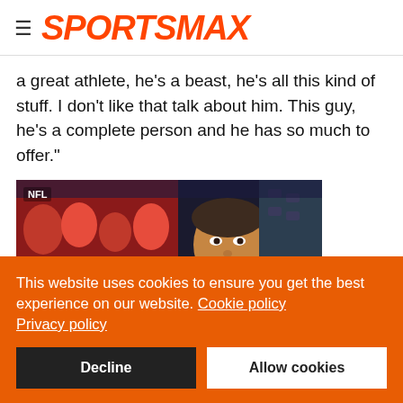SPORTSMAX
a great athlete, he's a beast, he's all this kind of stuff. I don't like that talk about him. This guy, he's a complete person and he has so much to offer."
[Figure (photo): NFL crowd scene with a player in the foreground, crowd in red shirts behind]
This website uses cookies to ensure you get the best experience on our website. Cookie policy Privacy policy
Decline | Allow cookies